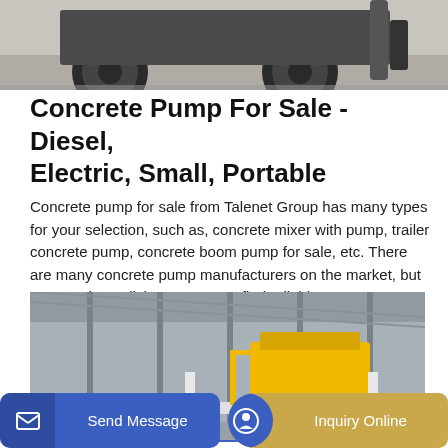[Figure (photo): Close-up photo of the undercarriage and wheels of a large concrete pump vehicle on pavement]
Concrete Pump For Sale - Diesel, Electric, Small, Portable
Concrete pump for sale from Talenet Group has many types for your selection, such as, concrete mixer with pump, trailer concrete pump, concrete boom pump for sale, etc. There are many concrete pump manufacturers on the market, but you need to polish your eyes to find reliable concrete pump suppliers.
[Figure (photo): Interior of a large industrial factory or warehouse showing a yellow concrete mixing machine on an elevated white steel platform structure]
GET A QUOTE
Send Message
Inquiry Online